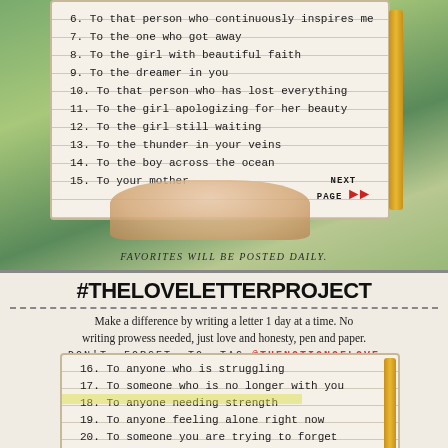[Figure (photo): Top photo of a hand holding a notebook with a list of love letter topics (items 6-15), on a green blurred background. Text reads: 6. To that person who continuously inspires me / 7. To the one who got away / 8. To the girl with beautiful faith / 9. To the dreamer in you / 10. To that person who has lost everything / 11. To the girl apologizing for her beauty / 12. To the girl still waiting / 13. To the thunder in your veins / 14. To the boy across the ocean / 15. To your mother. Bottom right shows NEXT PAGE with a red arrow.]
FAVORITES WILL BE POSTED DAILY.
#THELOVELETTERPROJECT
Make a difference by writing a letter 1 day at a time. No writing prowess needed, just love and honesty, pen and paper.
DON'T FORGET TO TAG @THENOTIONOFLOVE
[Figure (photo): Bottom photo of a notebook with a list of love letter topics (items 16-22), on a warm background with gold ribbon. Items: 16. To anyone who is struggling / 17. To someone who is no longer with you / 18. To anyone needing strength / 19. To anyone feeling alone right now / 20. To someone you are trying to forget / 21. To the one who inspired you to write / 22. To someone you no longer talk to]